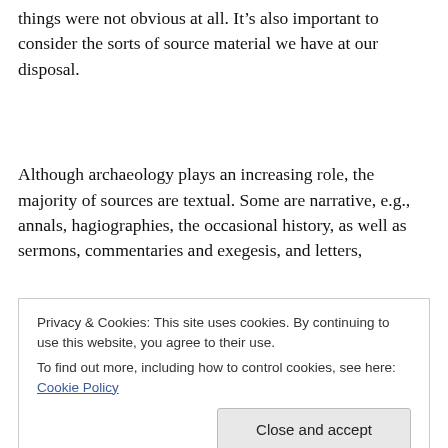things were not obvious at all. It's also important to consider the sorts of source material we have at our disposal.
Although archaeology plays an increasing role, the majority of sources are textual. Some are narrative, e.g., annals, hagiographies, the occasional history, as well as sermons, commentaries and exegesis, and letters,
Privacy & Cookies: This site uses cookies. By continuing to use this website, you agree to their use. To find out more, including how to control cookies, see here: Cookie Policy
especially the more quantitative sources indicating that the